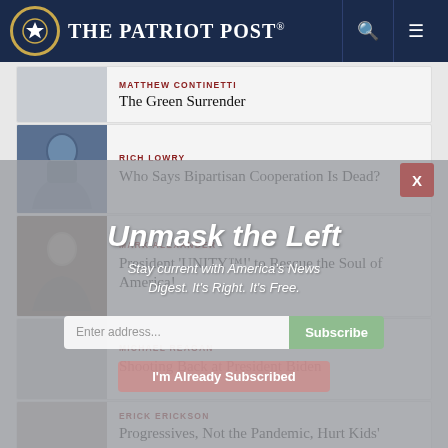The Patriot Post
MATTHEW CONTINETTI — The Green Surrender
RICH LOWRY — Who Says Bipartisan Cooperation Is Dead?
MARK ALEXANDER — President 'UNITY™!' to Rescue the Soul of America!
MICHAEL REAGAN — Shooting Back at President Biden
ERICK ERICKSON — Progressives, Not the Pandemic, Hurt Kids' Education
Unmask the Left
Stay current with America's News Digest. It's Right. It's Free.
Enter address... Subscribe
I'm Already Subscribed